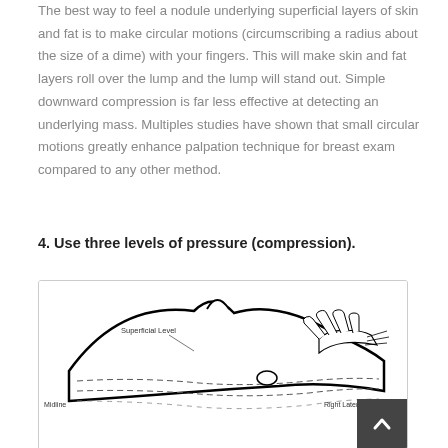The best way to feel a nodule underlying superficial layers of skin and fat is to make circular motions (circumscribing a radius about the size of a dime) with your fingers. This will make skin and fat layers roll over the lump and the lump will stand out. Simple downward compression is far less effective at detecting an underlying mass. Multiples studies have shown that small circular motions greatly enhance palpation technique for breast exam compared to any other method.
4. Use three levels of pressure (compression).
[Figure (illustration): Cross-sectional anatomical illustration of breast tissue showing superficial level labeled at top left, fingers pressing on the tissue at upper right, Midline labeled at left, Right Lateral labeled at right, with dashed lines showing different tissue layers and a nodule beneath the surface.]